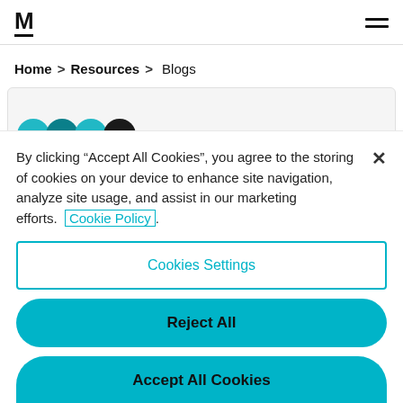M (logo) | hamburger menu
Home > Resources > Blogs
[Figure (illustration): Partial blog card with teal and dark teal semicircle icons]
By clicking “Accept All Cookies”, you agree to the storing of cookies on your device to enhance site navigation, analyze site usage, and assist in our marketing efforts. Cookie Policy
Cookies Settings
Reject All
Accept All Cookies